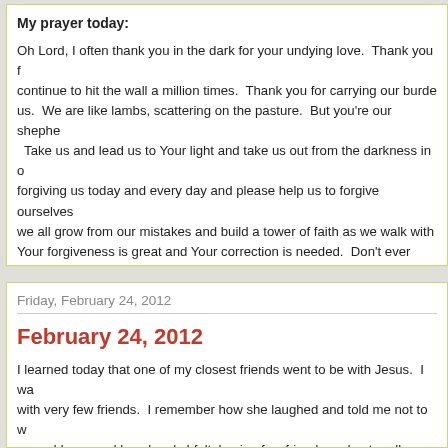My prayer today:
Oh Lord, I often thank you in the dark for your undying love. Thank you for letting us continue to hit the wall a million times. Thank you for carrying our burdens when we forget you love us. We are like lambs, scattering on the pasture. But you're our shepherd guiding us back. Take us and lead us to Your light and take us out from the darkness in our lives. Thank you for forgiving us today and every day and please help us to forgive ourselves and others. Please help we all grow from our mistakes and build a tower of faith as we walk with You. Your forgiveness is great and Your correction is needed. Don't ever leave us and keep You in our lives today. AMEN
at February 26, 2012   No comments:
Friday, February 24, 2012
February 24, 2012
I learned today that one of my closest friends went to be with Jesus. I was with very few friends. I remember how she laughed and told me not to worry, scared I was and how lonely I felt, having few friends and not really fitting because she was fighting Lupus. She had been since she was a baby a